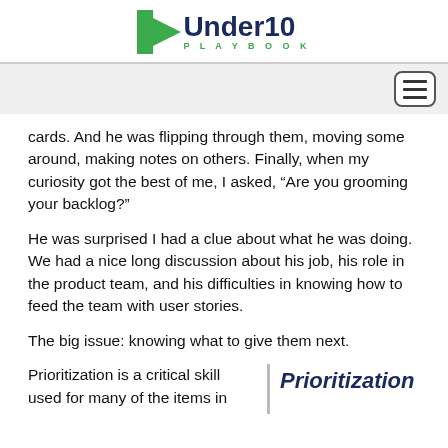Under10 PLAYBOOK
cards. And he was flipping through them, moving some around, making notes on others. Finally, when my curiosity got the best of me, I asked, “Are you grooming your backlog?”
He was surprised I had a clue about what he was doing. We had a nice long discussion about his job, his role in the product team, and his difficulties in knowing how to feed the team with user stories.
The big issue: knowing what to give them next.
Prioritization is a critical skill used for many of the items in
Prioritization